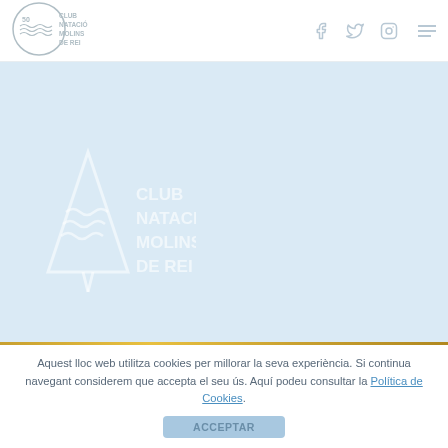[Figure (logo): Club Natació Molins de Rei 50th anniversary logo in header - circular design with wave motifs and text]
[Figure (logo): Social media icons: Facebook, Twitter/X, Instagram in header navigation area]
[Figure (logo): Club Natació Molins de Rei hero logo - large white version of the club emblem with triangle/wave icon and text on light blue background]
Aquest lloc web utilitza cookies per millorar la seva experiència. Si continua navegant considerem que accepta el seu ús. Aquí podeu consultar la Política de Cookies.
ACCEPTAR